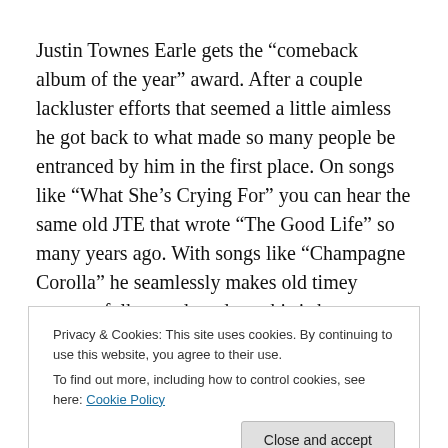Justin Townes Earle gets the “comeback album of the year” award. After a couple lackluster efforts that seemed a little aimless he got back to what made so many people be entranced by him in the first place. On songs like “What She’s Crying For” you can hear the same old JTE that wrote “The Good Life” so many years ago. With songs like “Champagne Corolla” he seamlessly makes old timey country-folk sound modern, this is how you can tell he is in
Privacy & Cookies: This site uses cookies. By continuing to use this website, you agree to their use.
To find out more, including how to control cookies, see here: Cookie Policy